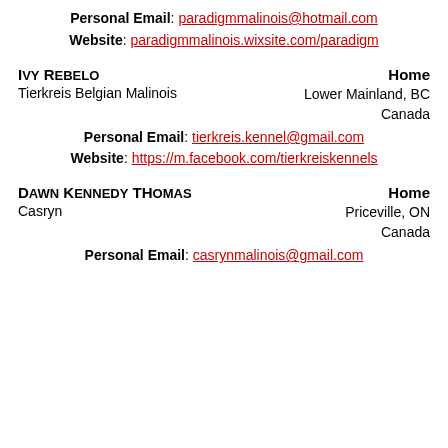Personal Email: paradigmmalinois@hotmail.com
Website: paradigmmalinois.wixsite.com/paradigm
Ivy Rebelo
Tierkreis Belgian Malinois
Home
Lower Mainland, BC
Canada
Personal Email: tierkreis.kennel@gmail.com
Website: https://m.facebook.com/tierkreiskennels
Dawn Kennedy THomas
Casryn
Home
Priceville, ON
Canada
Personal Email: casrynmalinois@gmail.com